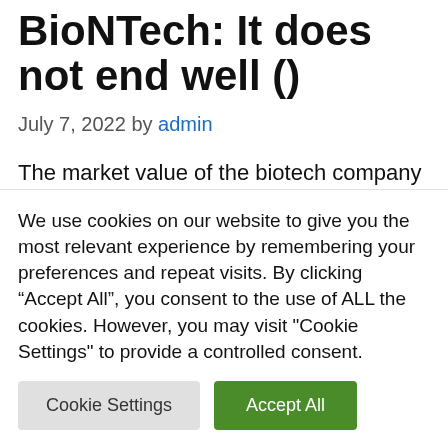BioNTech: It does not end well ()
July 7, 2022 by admin
The market value of the biotech company Tübingen CureVac (WKN: A2P71U) falls like a rock. In the last 12 months, the price has
We use cookies on our website to give you the most relevant experience by remembering your preferences and repeat visits. By clicking “Accept All”, you consent to the use of ALL the cookies. However, you may visit "Cookie Settings" to provide a controlled consent.